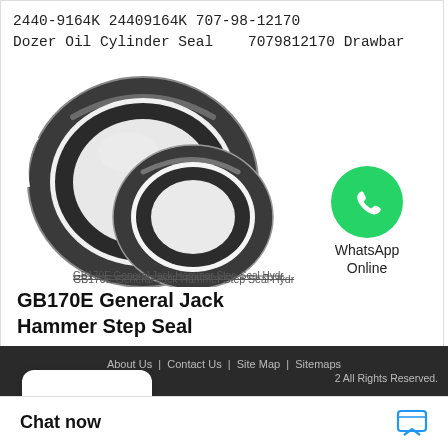2440-9164K 24409164K 707-98-12170 Dozer Oil Cylinder Seal 7079812170 Drawbar
[Figure (photo): Two dark grey rubber/metal step seal rings (one large, one medium) for hydraulic cylinders, shown on white background. Small label underneath reads: GB170E General Jack Hammer Step Seal Hydr]
[Figure (logo): WhatsApp green chat bubble icon with phone handset]
WhatsApp Online
GB170E General Jack Hammer Step Seal Hydr
GB170E General Jack Hammer Step Seal
×
• • •
About Us | Contact Us | Site Map | Sitemaps
2 All Rights Reserved.
Chat now